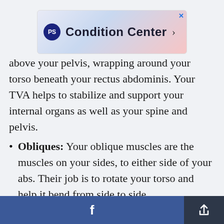[Figure (screenshot): PS Condition Center advertisement banner with gradient background (blue to pink), PS logo circle, bold text 'Condition Center' with arrow, and X close button]
above your pelvis, wrapping around your torso beneath your rectus abdominis. Your TVA helps to stabilize and support your internal organs as well as your spine and pelvis.
Obliques: Your oblique muscles are the muscles on your sides, to either side of your abs. Their job is to rotate your torso and help it bend from side to side.
Multifidus: Your multifidus is a series of triangular clusters of muscle on either side of your spine, which serve to support your back
[Figure (screenshot): Bottom navigation bar with Facebook share button (blue) and share/export button (dark gray)]